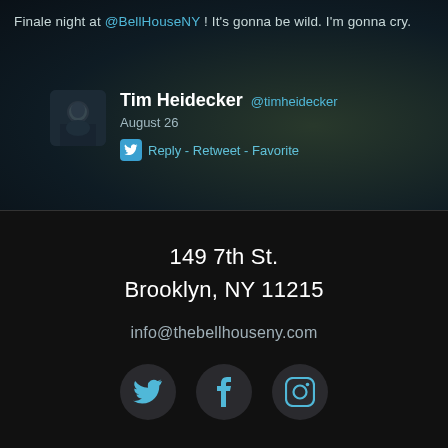Finale night at @BellHouseNY ! It's gonna be wild. I'm gonna cry.
Tim Heidecker @timheidecker
August 26
Reply - Retweet - Favorite
[Figure (screenshot): Twitter/social media card showing Tim Heidecker profile avatar and tweet actions]
149 7th St.
Brooklyn, NY 11215
info@thebellhouseny.com
[Figure (infographic): Three social media icon buttons: Twitter bird, Facebook f, Instagram camera]